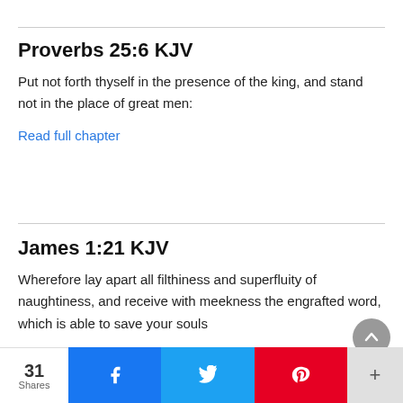Proverbs 25:6 KJV
Put not forth thyself in the presence of the king, and stand not in the place of great men:
Read full chapter
James 1:21 KJV
Wherefore lay apart all filthiness and superfluity of naughtiness, and receive with meekness the engrafted word, which is able to save your souls
31 Shares  [Facebook] [Twitter] [Pinterest] [+]